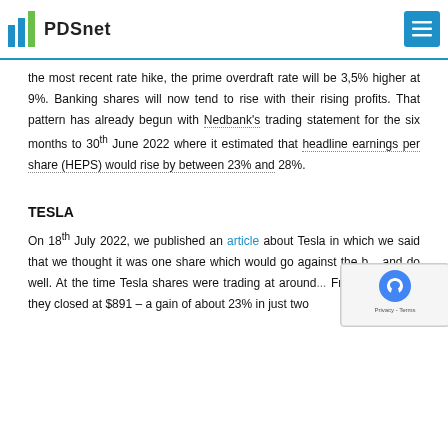PDSnet
the most recent rate hike, the prime overdraft rate will be 3,5% higher at 9%. Banking shares will now tend to rise with their rising profits. That pattern has already begun with Nedbank's trading statement for the six months to 30th June 2022 where it estimated that headline earnings per share (HEPS) would rise by between 23% and 28%.
TESLA
On 18th July 2022, we published an article about Tesla in which we said that we thought it was one share which would go against the b... and do well. At the time Tesla shares were trading at around... Friday last week they closed at $891 – a gain of about 23% in just two